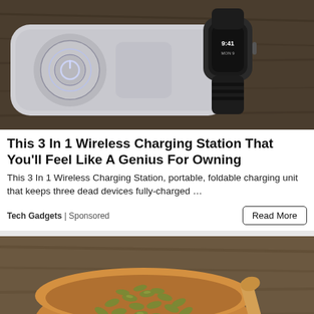[Figure (photo): A white wireless charging pad with a circular glowing power button and an Apple Watch with black band resting on a wooden surface.]
This 3 In 1 Wireless Charging Station That You'll Feel Like A Genius For Owning
This 3 In 1 Wireless Charging Station, portable, foldable charging unit that keeps three dead devices fully-charged …
Tech Gadgets | Sponsored
[Figure (photo): A wooden bowl filled with green pumpkin seeds on a rustic wooden table, with a wooden spoon to the right.]